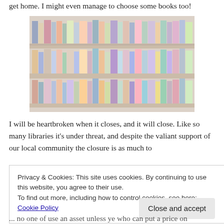get home. I might even manage to choose some books too!
[Figure (photo): Shelves filled with many books in a library or bookshop]
I will be heartbroken when it closes, and it will close. Like so many libraries it's under threat, and despite the valiant support of our local community the closure is as much to
Privacy & Cookies: This site uses cookies. By continuing to use this website, you agree to their use.
To find out more, including how to control cookies, see here: Cookie Policy
Close and accept
... no one of use an asset unless ye who can put a price on